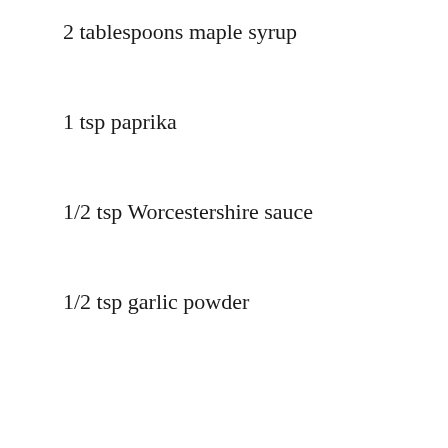2 tablespoons maple syrup
1 tsp paprika
1/2 tsp Worcestershire sauce
1/2 tsp garlic powder